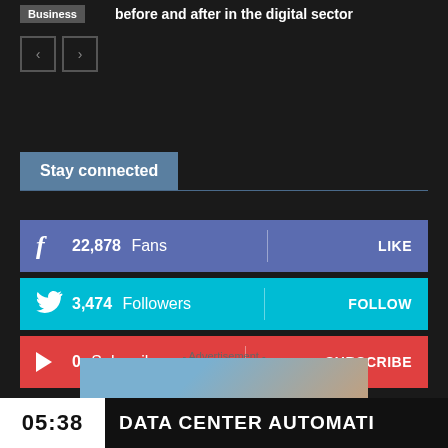Business | before and after in the digital sector
[Figure (screenshot): Navigation prev/next arrow buttons on dark background]
Stay connected
[Figure (infographic): Social media follow widget: Facebook 22,878 Fans LIKE; Twitter 3,474 Followers FOLLOW; YouTube 0 Subscribers SUBSCRIBE]
- Advertisement -
[Figure (photo): Advertisement image placeholder]
05:38  DATA CENTER AUTOMATI